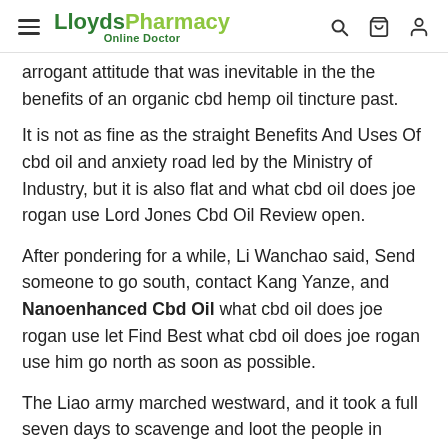LloydsPharmacy Online Doctor
arrogant attitude that was inevitable in the the benefits of an organic cbd hemp oil tincture past.
It is not as fine as the straight Benefits And Uses Of cbd oil and anxiety road led by the Ministry of Industry, but it is also flat and what cbd oil does joe rogan use Lord Jones Cbd Oil Review open.
After pondering for a while, Li Wanchao said, Send someone to go south, contact Kang Yanze, and Nanoenhanced Cbd Oil what cbd oil does joe rogan use let Find Best what cbd oil does joe rogan use him go north as soon as possible.
The Liao army marched westward, and it took a full seven days to scavenge and loot the people in